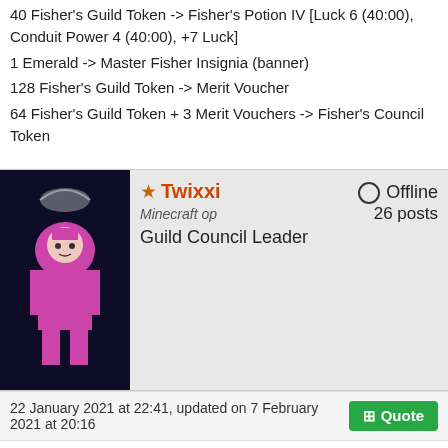40 Fisher's Guild Token -> Fisher's Potion IV [Luck 6 (40:00), Conduit Power 4 (40:00), +7 Luck]
1 Emerald -> Master Fisher Insignia (banner)
128 Fisher's Guild Token -> Merit Voucher
64 Fisher's Guild Token + 3 Merit Vouchers -> Fisher's Council Token
★Twixxi — Minecraft op — Guild Council Leader — Offline — 26 posts
22 January 2021 at 22:41, updated on 7 February 2021 at 20:16
The Hunter's Guild
[Figure (screenshot): Screenshot of a Minecraft game scene showing a Hunter's Guild building interior with wooden walls and framed item displays including a bow]